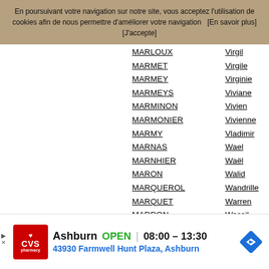En poursuivant votre navigation sur notre site, vous acceptez l'utilisation de cookies afin de nous permettre d'améliorer votre navigation   [En savoir plus]       [J'accepte]
MARLOUX   Virgil
MARMET   Virgile
MARMEY   Virginie
MARMEYS   Viviane
MARMINON   Vivien
MARMONIER   Vivienne
MARMY   Vladimir
MARNAS   Wael
MARNHIER   Waël
MARON   Walid
MARQUEROL   Wandrille
MARQUET   Warren
MARRON   Wassil
MARSAL   Wassim
MARSERT   Wendy
MARTARESCHE   Wesley
Ashburn  OPEN  08:00 – 13:30  43930 Farmwell Hunt Plaza, Ashburn